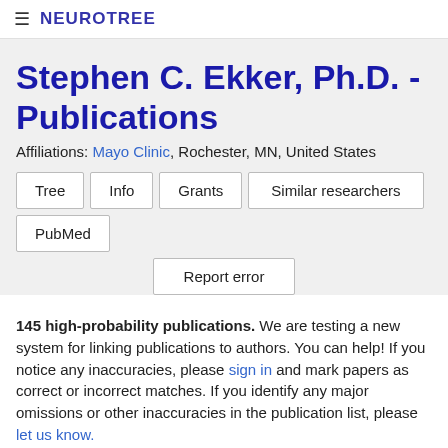≡ NEUROTREE
Stephen C. Ekker, Ph.D. - Publications
Affiliations: Mayo Clinic, Rochester, MN, United States
Tree
Info
Grants
Similar researchers
PubMed
Report error
145 high-probability publications. We are testing a new system for linking publications to authors. You can help! If you notice any inaccuracies, please sign in and mark papers as correct or incorrect matches. If you identify any major omissions or other inaccuracies in the publication list, please let us know.
| Year | Citation | Score |
| --- | --- | --- |